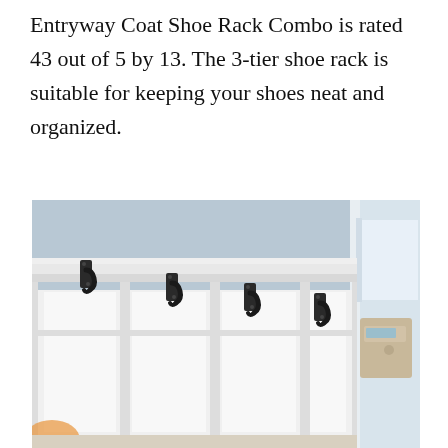Entryway Coat Shoe Rack Combo is rated 43 out of 5 by 13. The 3-tier shoe rack is suitable for keeping your shoes neat and organized.
[Figure (photo): Photo of an entryway coat rack with four black double hooks mounted on white beadboard paneling with white crown molding. A thermostat or panel is mounted on the right side wall. The wall is painted light blue-grey.]